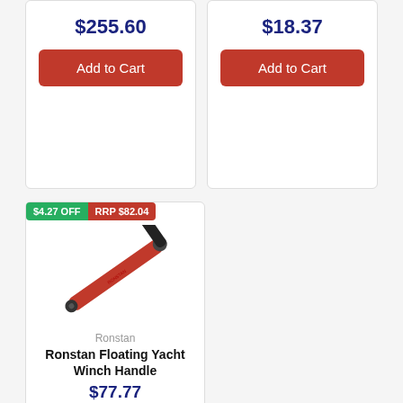$255.60
Add to Cart
$18.37
Add to Cart
$4.27 OFF
RRP $82.04
[Figure (photo): Red Ronstan Floating Yacht Winch Handle with black grip]
Ronstan
Ronstan Floating Yacht Winch Handle
$77.77
Add to Cart